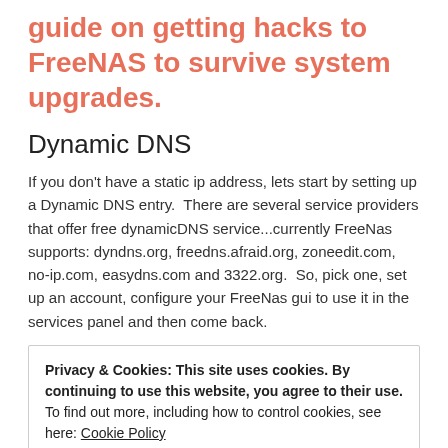guide on getting hacks to FreeNAS to survive system upgrades.
Dynamic DNS
If you don't have a static ip address, lets start by setting up a Dynamic DNS entry.  There are several service providers that offer free dynamicDNS service...currently FreeNas supports: dyndns.org, freedns.afraid.org, zoneedit.com, no-ip.com, easydns.com and 3322.org.  So, pick one, set up an account, configure your FreeNas gui to use it in the services panel and then come back.
Privacy & Cookies: This site uses cookies. By continuing to use this website, you agree to their use.
To find out more, including how to control cookies, see here: Cookie Policy
[Close and accept]
logging into the web interface on the router, going to the advanced